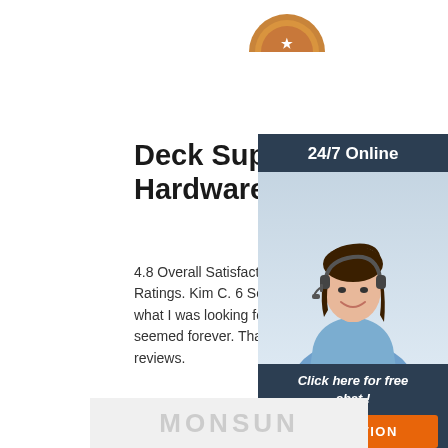[Figure (photo): Partially visible bronze medal/badge at top center of page]
Deck Supplies, Lighting & Hardware
4.8 Overall Satisfaction Rating. Based on 59 Ratings. Kim C. 6 Sep 2021. Decks Direct has what I was looking for after searching like what seemed forever. Thank you! More Reviews. reviews.
[Figure (photo): Customer service agent - woman wearing headset, smiling, with '24/7 Online' header and 'Click here for free chat!' text overlay, orange QUOTATION button at bottom]
[Figure (other): Partially visible watermark/logo text at the bottom of the page (light gray text, appears to read MONSUN or similar)]